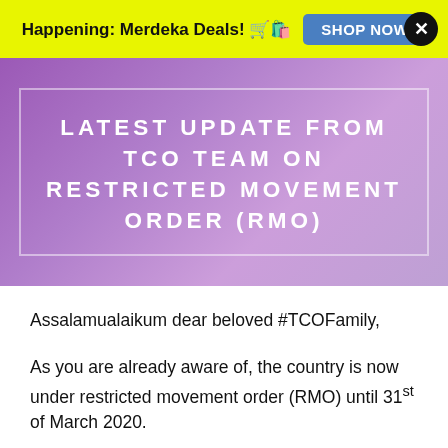Happening: Merdeka Deals! 🛒🛍️  SHOP NOW  ✕
[Figure (illustration): Purple gradient banner with white bold spaced-letter text reading: LATEST UPDATE FROM TCO TEAM ON RESTRICTED MOVEMENT ORDER (RMO), inside a white-bordered rectangle]
Assalamualaikum dear beloved #TCOFamily,
As you are already aware of, the country is now under restricted movement order (RMO) until 31st of March 2020.
The order could be extended, or will end on that day, we are not 100% sure at the moment.
Even though TCO falls under essential services (e-commerce)